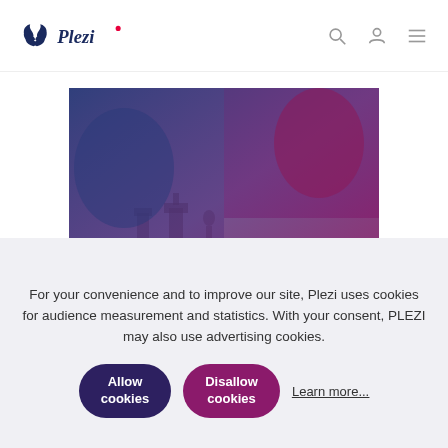Plezi
[Figure (photo): Chess pieces on a board with a blue and magenta color overlay, hands visible in the background.]
For your convenience and to improve our site, Plezi uses cookies for audience measurement and statistics. With your consent, PLEZI may also use advertising cookies.
Allow cookies | Disallow cookies | Learn more...